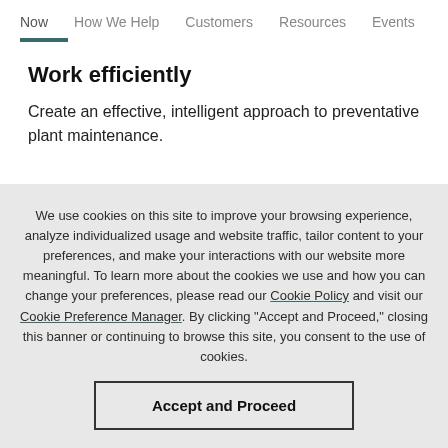Now   How We Help   Customers   Resources   Events
Work efficiently
Create an effective, intelligent approach to preventative plant maintenance.
We use cookies on this site to improve your browsing experience, analyze individualized usage and website traffic, tailor content to your preferences, and make your interactions with our website more meaningful. To learn more about the cookies we use and how you can change your preferences, please read our Cookie Policy and visit our Cookie Preference Manager. By clicking "Accept and Proceed," closing this banner or continuing to browse this site, you consent to the use of cookies.
Accept and Proceed